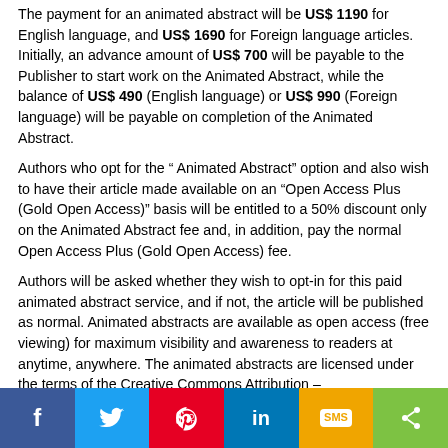The payment for an animated abstract will be US$ 1190 for English language, and US$ 1690 for Foreign language articles. Initially, an advance amount of US$ 700 will be payable to the Publisher to start work on the Animated Abstract, while the balance of US$ 490 (English language) or US$ 990 (Foreign language) will be payable on completion of the Animated Abstract.
Authors who opt for the “ Animated Abstract” option and also wish to have their article made available on an “Open Access Plus (Gold Open Access)” basis will be entitled to a 50% discount only on the Animated Abstract fee and, in addition, pay the normal Open Access Plus (Gold Open Access) fee.
Authors will be asked whether they wish to opt-in for this paid animated abstract service, and if not, the article will be published as normal. Animated abstracts are available as open access (free viewing) for maximum visibility and awareness to readers at anytime, anywhere. The animated abstracts are licensed under the terms of the Creative Commons Attribution – NonCommercial-NoDerivatives 4.0 International Public License (CC BY-NC-ND 4.0) https://creativecommons.org/licenses/by-nc-nd/4.0/
For a sample of an animated abstract please access here